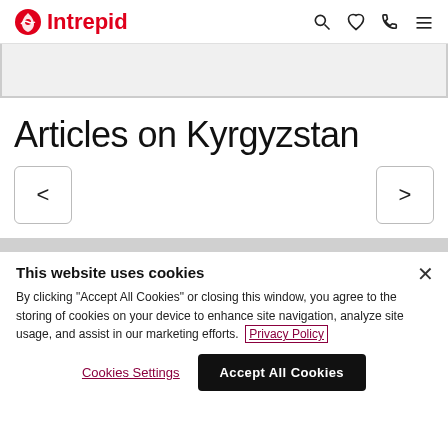Intrepid
[Figure (screenshot): Gray image placeholder/banner area]
Articles on Kyrgyzstan
[Figure (other): Navigation prev/next arrow buttons]
This website uses cookies
By clicking "Accept All Cookies" or closing this window, you agree to the storing of cookies on your device to enhance site navigation, analyze site usage, and assist in our marketing efforts. Privacy Policy
Cookies Settings  Accept All Cookies